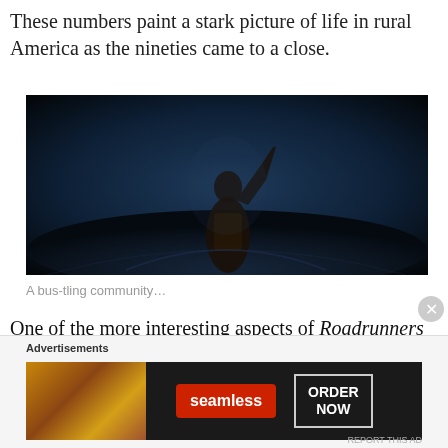These numbers paint a stark picture of life in rural America as the nineties came to a close.
[Figure (photo): Dark cinematic scene of a person standing outdoors at night with one arm raised, dimly lit with blue-dark tones, snowy or misty ground visible]
A bus-tling community…
One of the more interesting aspects of Roadrunners is how little mythology or context Vince Gilligan provides for
[Figure (other): Advertisement banner for Seamless food delivery showing pizza image, Seamless logo, and ORDER NOW button]